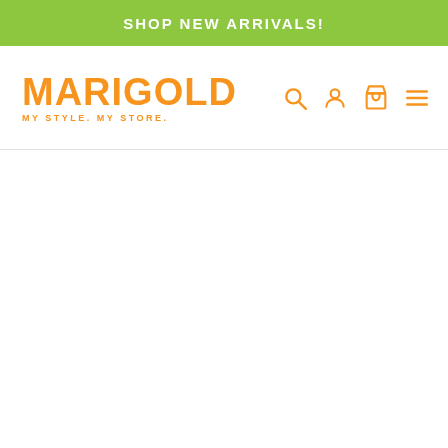SHOP NEW ARRIVALS!
[Figure (logo): Marigold logo with text MARIGOLD in large orange lettering and tagline MY STYLE. MY STORE. below, along with navigation icons for search, account, cart, and menu]